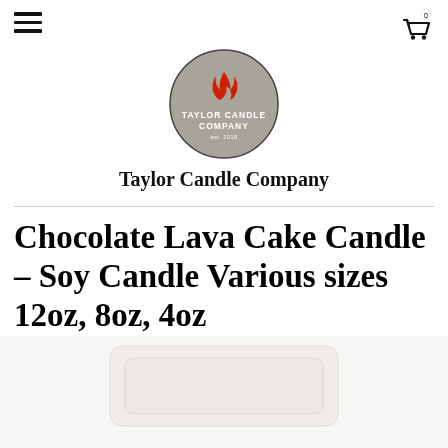Navigation header with hamburger menu and cart icon
[Figure (logo): Taylor Candle Company circular logo with flame icon and gray background]
Taylor Candle Company
Chocolate Lava Cake Candle - Soy Candle Various sizes 12oz, 8oz, 4oz
[Figure (photo): Partial product photo of a white soy candle container at the bottom of the page]